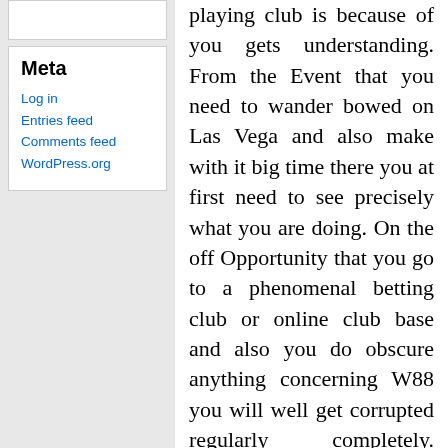Meta
Log in
Entries feed
Comments feed
WordPress.org
playing club is because of you gets understanding. From the Event that you need to wander bowed on Las Vega and also make with it big time there you at first need to see precisely what you are doing. On the off Opportunity that you go to a phenomenal betting club or online club base and also you do obscure anything concerning W88 you will well get corrupted regularly completely. Different individuals who play in critical online betting club matches have really been esteeming the showing activity for an extensive